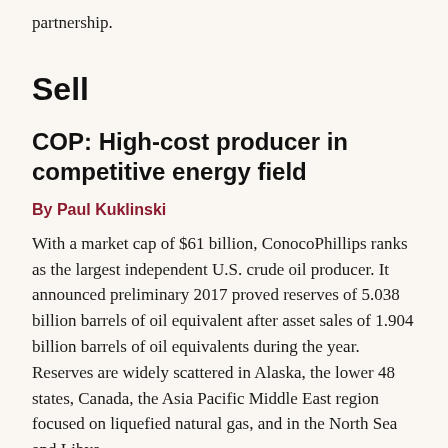partnership.
Sell
COP: High-cost producer in competitive energy field
By Paul Kuklinski
With a market cap of $61 billion, ConocoPhillips ranks as the largest independent U.S. crude oil producer. It announced preliminary 2017 proved reserves of 5.038 billion barrels of oil equivalent after asset sales of 1.904 billion barrels of oil equivalents during the year. Reserves are widely scattered in Alaska, the lower 48 states, Canada, the Asia Pacific Middle East region focused on liquefied natural gas, and in the North Sea and Libya.